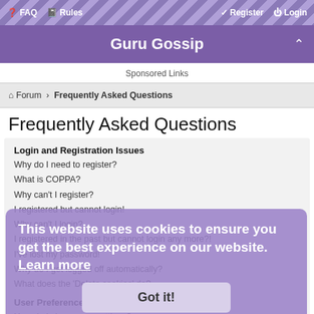FAQ  Rules  Register  Login
Guru Gossip
Sponsored Links
Forum › Frequently Asked Questions
Frequently Asked Questions
Login and Registration Issues
Why do I need to register?
What is COPPA?
Why can't I register?
I registered but cannot login!
Why can't I login?
I registered in the past but cannot login any more?!
I've lost my password!
Why do I get logged off automatically?
What does the 'Delete cookies' do?
User Preferences and settings
How do I change my settings?
How do I prevent my username appearing in the online user listings?
The times are not correct!
I changed the timezone and the time is still wrong!
This website uses cookies to ensure you get the best experience on our website.  Learn more
Got it!